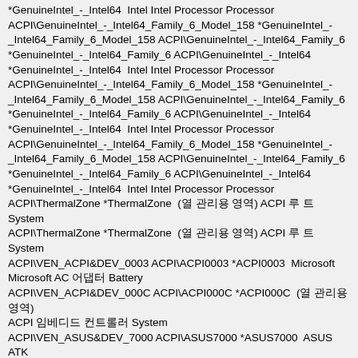*GenuineIntel_-_Intel64  Intel Intel Processor Processor ACPI\GenuineIntel_-_Intel64_Family_6_Model_158 *GenuineIntel_-_Intel64_Family_6_Model_158 ACPI\GenuineIntel_-_Intel64_Family_6 *GenuineIntel_-_Intel64_Family_6 ACPI\GenuineIntel_-_Intel64 *GenuineIntel_-_Intel64  Intel Intel Processor Processor ACPI\GenuineIntel_-_Intel64_Family_6_Model_158 *GenuineIntel_-_Intel64_Family_6_Model_158 ACPI\GenuineIntel_-_Intel64_Family_6 *GenuineIntel_-_Intel64_Family_6 ACPI\GenuineIntel_-_Intel64 *GenuineIntel_-_Intel64  Intel Intel Processor Processor ACPI\GenuineIntel_-_Intel64_Family_6_Model_158 *GenuineIntel_-_Intel64_Family_6_Model_158 ACPI\GenuineIntel_-_Intel64_Family_6 *GenuineIntel_-_Intel64_Family_6 ACPI\GenuineIntel_-_Intel64 *GenuineIntel_-_Intel64  Intel Intel Processor Processor ACPI\ThermalZone *ThermalZone  (열 관리용 영역) ACPI 루 트 System ACPI\ThermalZone *ThermalZone  (열 관리용 영역) ACPI 루 트 System ACPI\VEN_ACPI&DEV_0003 ACPI\ACPI0003 *ACPI0003  Microsoft Microsoft AC 어댑터 Battery ACPI\VEN_ACPI&DEV_000C ACPI\ACPI000C *ACPI000C  (열 관리용 영역) ACPI 임베디드 컨트롤러 System ACPI\VEN_ASUS&DEV_7000 ACPI\ASUS7000 *ASUS7000  ASUS ATK Package (ASUS Keyboard Hotkeys) Device System ACPI\VEN_ATK&DEV_4002 ACPI\ATK4002 *ATK4002  ASUS ASUS Wireless Radio Control System ACPI\VEN_INT&DEV_33A1 ACPI\INT33A1 *INT33A1  Intel Corporation
ACPI\GenuineIntel_-_Intel64_Family_6_Model_158 *GenuineIntel_-_Intel64_Family_6_Model_158 ACPI\GenuineIntel_-_Intel64_Family_6 *GenuineIntel_-_Intel64_Family_6 ACPI\GenuineIntel_-_Intel64 *GenuineIntel_-_Intel64  Intel Intel Processor Processor